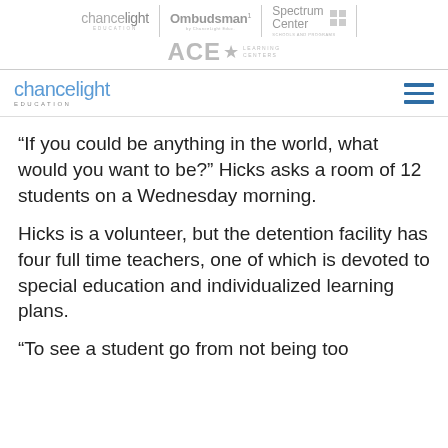chancelight EDUCATION | Ombudsman | Spectrum Center | ACE LEARNING CENTERS
chancelight EDUCATION [navigation bar with hamburger menu]
“If you could be anything in the world, what would you want to be?” Hicks asks a room of 12 students on a Wednesday morning.
Hicks is a volunteer, but the detention facility has four full time teachers, one of which is devoted to special education and individualized learning plans.
“To see a student go from not being too